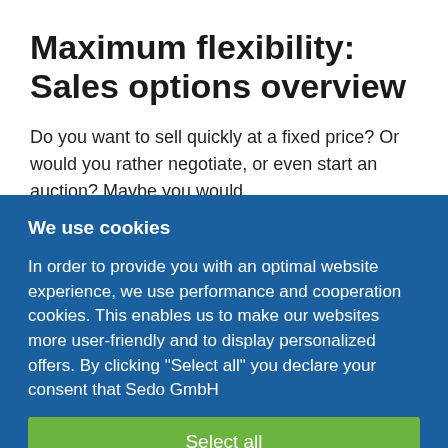Maximum flexibility: Sales options overview
Do you want to sell quickly at a fixed price? Or would you rather negotiate, or even start an auction? Maybe you would
We use cookies
In order to provide you with an optimal website experience, we use performance and cooperation cookies. This enables us to make our websites more user-friendly and to display personalized offers. By clicking "Select all" you declare your consent that Sedo GmbH
Select all
Confirm selection